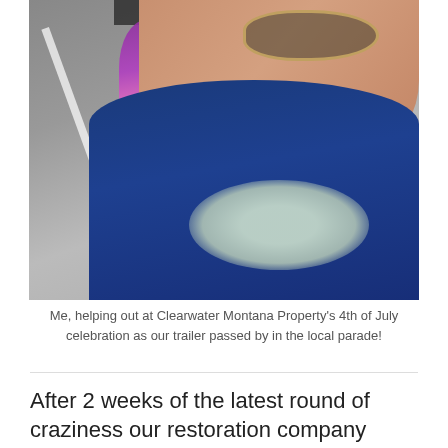[Figure (photo): A selfie of a woman smiling, wearing sunglasses, a navy blue shirt, and a large floral necklace. She is holding a young child dressed in colorful clothes. The background shows a street/road, suggesting a parade setting.]
Me, helping out at Clearwater Montana Property's 4th of July celebration as our trailer passed by in the local parade!
After 2 weeks of the latest round of craziness our restoration company threatened to slap a lien on our house, which didn't sit particularly